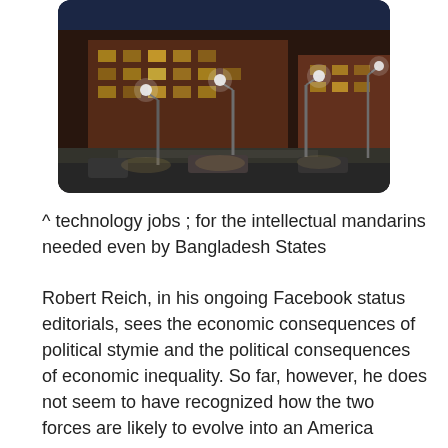[Figure (photo): Nighttime photo of a brick university/office building exterior with street lamps illuminated, plaza area with benches and planters visible in the foreground.]
^ technology jobs ; for the intellectual mandarins needed even by Bangladesh States
Robert Reich, in his ongoing Facebook status editorials, sees the economic consequences of political stymie and the political consequences of economic inequality. So far, however, he does not seem to have recognized how the two forces are likely to evolve into an America divided between coolies and mandarins — Bangladesh versus Hong Kong, Malaysia against South Korea. (Or